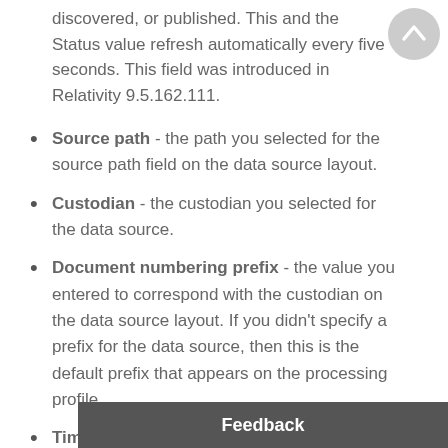discovered, or published. This and the Status value refresh automatically every five seconds. This field was introduced in Relativity 9.5.162.111.
Source path - the path you selected for the source path field on the data source layout.
Custodian - the custodian you selected for the data source.
Document numbering prefix - the value you entered to correspond with the custodian on the data source layout. If you didn't specify a prefix for the data source, then this is the default prefix that appears on the processing profile.
Time zone - the time zone you selected for the data source.
OCR language - [partially visible] on the data so...